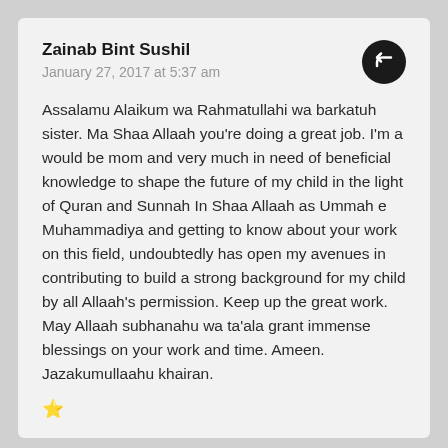Zainab Bint Sushil
January 27, 2017 at 5:37 am
Assalamu Alaikum wa Rahmatullahi wa barkatuh sister. Ma Shaa Allaah you're doing a great job. I'm a would be mom and very much in need of beneficial knowledge to shape the future of my child in the light of Quran and Sunnah In Shaa Allaah as Ummah e Muhammadiya and getting to know about your work on this field, undoubtedly has open my avenues in contributing to build a strong background for my child by all Allaah's permission. Keep up the great work. May Allaah subhanahu wa ta'ala grant immense blessings on your work and time. Ameen. Jazakumullaahu khairan.